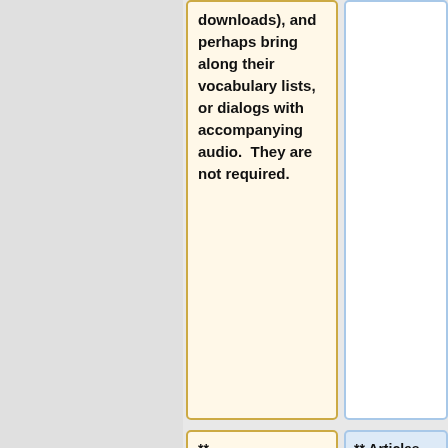downloads), and perhaps bring along their vocabulary lists, or dialogs with accompanying audio.  They are not required.
** [http://www.uni-koeln.de/phil-fak/afrikanistik/down/publikationen/basic_ewe.pdf Basic Ewe for Foreign Students]. A contemporary textbook.  Unfortunately no
** Articles. There are also numerous required articles, available online, as detailed in the [[Ghana 2013 syllabi | syllabi]].  I try to provide at least one or two readings for